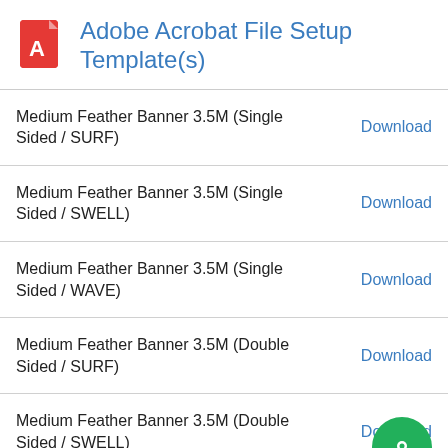Adobe Acrobat File Setup Template(s)
Medium Feather Banner 3.5M (Single Sided / SURF)
Medium Feather Banner 3.5M (Single Sided / SWELL)
Medium Feather Banner 3.5M (Single Sided / WAVE)
Medium Feather Banner 3.5M (Double Sided / SURF)
Medium Feather Banner 3.5M (Double Sided / SWELL)
Medium Feather Banner 3.5M (Doublee Sided